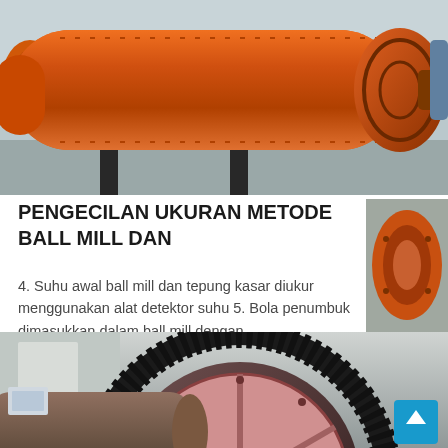[Figure (photo): Orange industrial ball mill machine photographed outdoors, cylindrical drum with orange paint and bolted flanges, mounted on black supports]
PENGECILAN UKURAN METODE BALL MILL DAN
4. Suhu awal ball mill dan tepung kasar diukur menggunakan alat detektor suhu 5. Bola penumbuk dimasukkan dalam ball mill dengan…
[Figure (photo): Close-up of industrial ball mill gear ring and cylindrical drum, showing large black toothed gear ring around a pink/red circular housing with bolts, and a large cylindrical metal barrel]